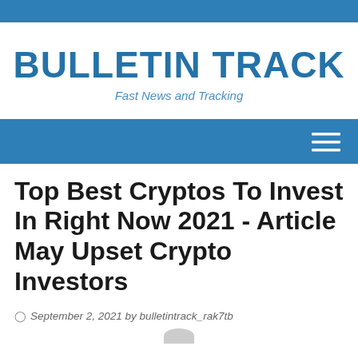BULLETIN TRACK
Fast News and Tracking
[Figure (screenshot): Blue navigation bar with hamburger menu icon on the right]
Top Best Cryptos To Invest In Right Now 2021 - Article May Upset Crypto Investors
September 2, 2021 by bulletintrack_rak7tb